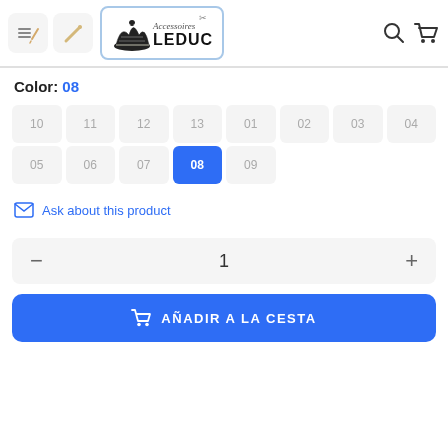[Figure (screenshot): Website header with hamburger menu icon, a pencil/wand icon button, Accessoires LEDUC logo, search icon, and cart icon]
Color: 08
10
11
12
13
01
02
03
04
05
06
07
08
09
Ask about this product
1
AÑADIR A LA CESTA